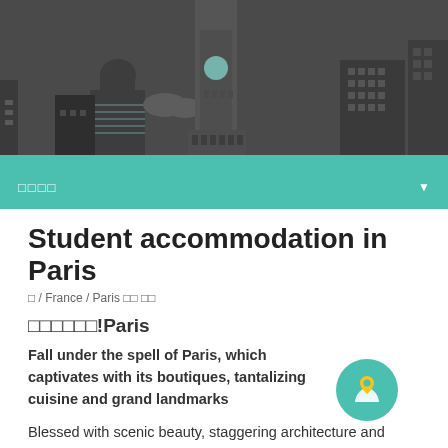[Figure (illustration): Dark city skyline illustration with buildings, a clock tower, and architectural elements on a dark gray background]
□□□□ ▼
Student accommodation in Paris
□ / France / Paris □□ □□
□□□□□□!Paris
Fall under the spell of Paris, which captivates with its boutiques, tantalizing cuisine and grand landmarks
Blessed with scenic beauty, staggering architecture and home to some of the world's most revered artists, designers, writers and thinkers, Paris is one of the most alluring destinations for students